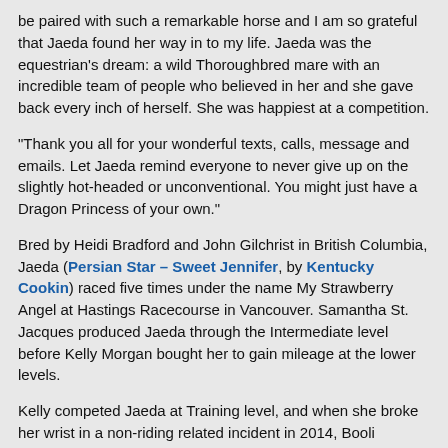be paired with such a remarkable horse and I am so grateful that Jaeda found her way in to my life. Jaeda was the equestrian's dream: a wild Thoroughbred mare with an incredible team of people who believed in her and she gave back every inch of herself. She was happiest at a competition.
"Thank you all for your wonderful texts, calls, message and emails. Let Jaeda remind everyone to never give up on the slightly hot-headed or unconventional. You might just have a Dragon Princess of your own."
Bred by Heidi Bradford and John Gilchrist in British Columbia, Jaeda (Persian Star – Sweet Jennifer, by Kentucky Cookin) raced five times under the name My Strawberry Angel at Hastings Racecourse in Vancouver. Samantha St. Jacques produced Jaeda through the Intermediate level before Kelly Morgan bought her to gain mileage at the lower levels.
Kelly competed Jaeda at Training level, and when she broke her wrist in a non-riding related incident in 2014, Booli stepped in to help compete the mare. Booli instantly saw a talent in Jaeda that indicated she could go the very highest level of the sport. With Booli's upper level horse Kennedy ready to enjoy a slower pace of life, Kelly